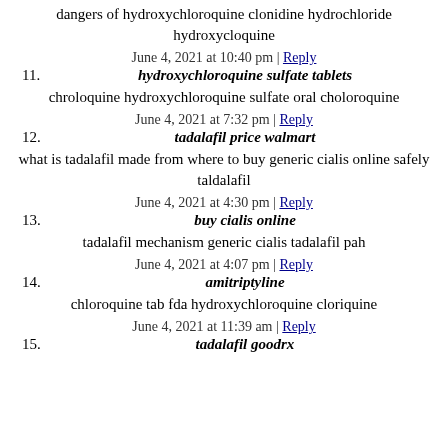dangers of hydroxychloroquine clonidine hydrochloride hydroxycloquine
June 4, 2021 at 10:40 pm | Reply
11. hydroxychloroquine sulfate tablets
chroloquine hydroxychloroquine sulfate oral choloroquine
June 4, 2021 at 7:32 pm | Reply
12. tadalafil price walmart
what is tadalafil made from where to buy generic cialis online safely taldalafil
June 4, 2021 at 4:30 pm | Reply
13. buy cialis online
tadalafil mechanism generic cialis tadalafil pah
June 4, 2021 at 4:07 pm | Reply
14. amitriptyline
chloroquine tab fda hydroxychloroquine cloriquine
June 4, 2021 at 11:39 am | Reply
15. tadalafil goodrx